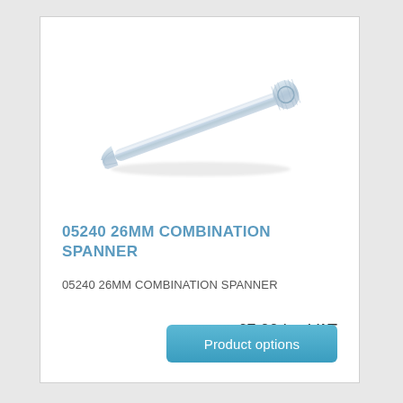[Figure (photo): A silver/chrome combination spanner (wrench) shown at an angle on a white background. The spanner has an open end on the left and a ring/box end on the right with a knurled handle.]
05240 26MM COMBINATION SPANNER
05240 26MM COMBINATION SPANNER
£7.99 inc VAT
Product options